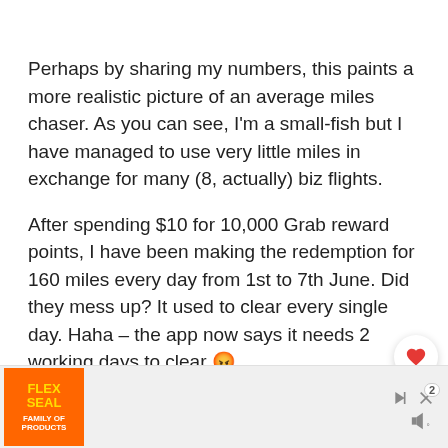Perhaps by sharing my numbers, this paints a more realistic picture of an average miles chaser. As you can see, I'm a small-fish but I have managed to use very little miles in exchange for many (8, actually) biz flights.
After spending $10 for 10,000 Grab reward points, I have been making the redemption for 160 miles every day from 1st to 7th June. Did they mess up? It used to clear every single day. Haha – the app now says it needs 2 working days to clear 😡
[Figure (other): Advertisement banner for Flex Seal Family of Products with orange background and yellow text, with ad control icons (play, close, speaker) on the right.]